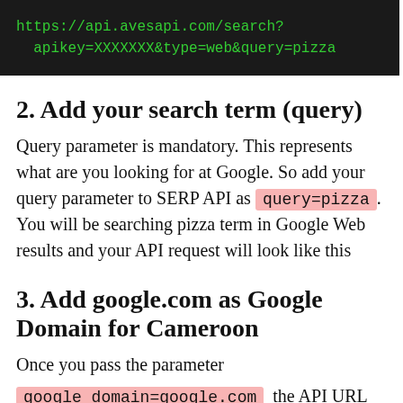[Figure (screenshot): Dark terminal/code block showing API URL: https://api.avesapi.com/search?apikey=XXXXXXX&type=web&query=pizza in green monospace font on black background]
2. Add your search term (query)
Query parameter is mandatory. This represents what are you looking for at Google. So add your query parameter to SERP API as query=pizza . You will be searching pizza term in Google Web results and your API request will look like this
3. Add google.com as Google Domain for Cameroon
Once you pass the parameter
google_domain=google.com  the API URL will look